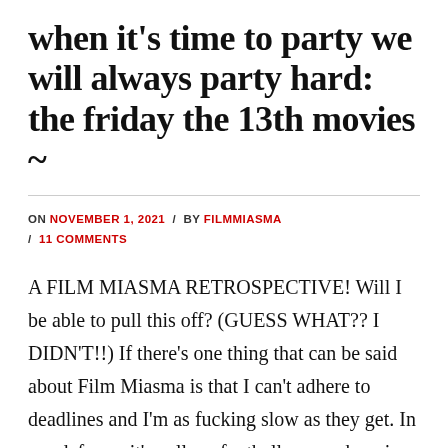when it's time to party we will always party hard: the friday the 13th movies ~
ON NOVEMBER 1, 2021 / BY FILMMIASMA / 11 COMMENTS
A FILM MIASMA RETROSPECTIVE! Will I be able to pull this off? (GUESS WHAT?? I DIDN'T!!) If there's one thing that can be said about Film Miasma is that I can't adhere to deadlines and I'm as fucking slow as they get. In my defense, it's college football season here in the place where I …